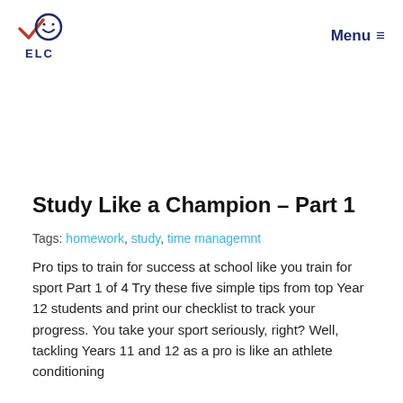ELC  Menu ≡
Study Like a Champion – Part 1
Tags: homework, study, time managemnt
Pro tips to train for success at school like you train for sport Part 1 of 4 Try these five simple tips from top Year 12 students and print our checklist to track your progress. You take your sport seriously, right? Well, tackling Years 11 and 12 as a pro is like an athlete conditioning